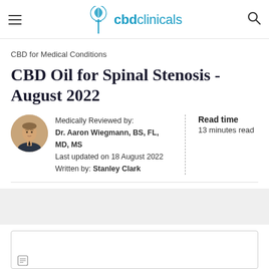cbdclinicals
CBD for Medical Conditions
CBD Oil for Spinal Stenosis - August 2022
Medically Reviewed by: Dr. Aaron Wiegmann, BS, FL, MD, MS
Last updated on 18 August 2022
Written by: Stanley Clark
Read time 13 minutes read
[Figure (other): Partially visible content box at the bottom of the page]